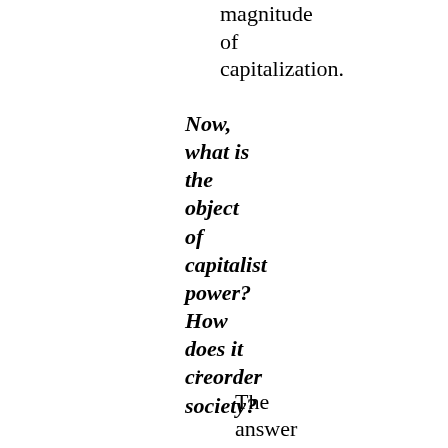magnitude of capitalization.
Now, what is the object of capitalist power? How does it creorder society?
The answer begins from a conceptual distinction between